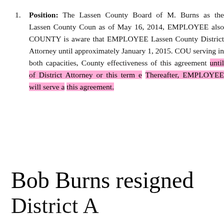Position: The Lassen County Board of Supervisors appointed Robert M. Burns as the Lassen County County Counsel effective May 16, 2014, as of May 16, 2014, EMPLOYEE also serves as the County Counsel. COUNTY is aware that EMPLOYEE is also serving as the elected Lassen County District Attorney until the end of his current term, approximately January 1, 2015. COUNTY consents to EMPLOYEE serving in both capacities, County Counsel and District Attorney, for the effectiveness of this agreement until the end of his current term of District Attorney or this term expires, whichever is sooner. Thereafter, EMPLOYEE will serve as County Counsel only under this agreement.
Bob Burns resigned District Attorney